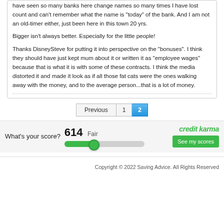have seen so many banks here change names so many times I have lost count and can't remember what the name is "today" of the bank. And I am not an old-timer either, just been here in this town 20 yrs.
Bigger isn't always better. Especially for the little people!
Thanks DisneySteve for putting it into perspective on the "bonuses". I think they should have just kept mum about it or written it as "employee wages" because that is what it is with some of these contracts. I think the media distorted it and made it look as if all those fat cats were the ones walking away with the money, and to the average person...that is a lot of money.
[Figure (other): Pagination bar with Previous button, page 1 link, and active page 2 button (highlighted blue)]
[Figure (infographic): Credit Karma widget showing credit score 614 Fair with a green slider bar and 'See my scores' button]
Copyright © 2022 Saving Advice. All Rights Reserved